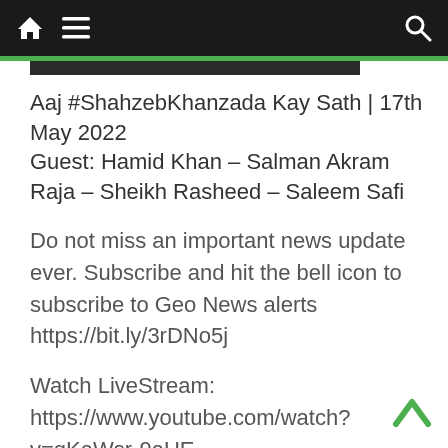Navigation bar with home, menu, and search icons
Aaj #ShahzebKhanzada Kay Sath | 17th May 2022
Guest: Hamid Khan – Salman Akram Raja – Sheikh Rasheed – Saleem Safi
Do not miss an important news update ever. Subscribe and hit the bell icon to subscribe to Geo News alerts https://bit.ly/3rDNo5j
Watch LiveStream: https://www.youtube.com/watch?v=qKaWsr-9aUE